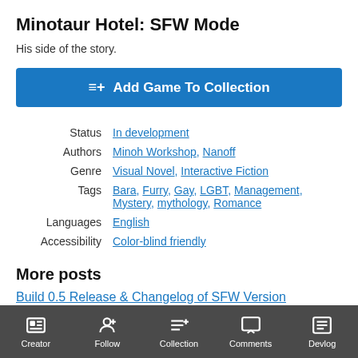Minotaur Hotel: SFW Mode
His side of the story.
Add Game To Collection
| Label | Value |
| --- | --- |
| Status | In development |
| Authors | Minoh Workshop, Nanoff |
| Genre | Visual Novel, Interactive Fiction |
| Tags | Bara, Furry, Gay, LGBT, Management, Mystery, mythology, Romance |
| Languages | English |
| Accessibility | Color-blind friendly |
More posts
Build 0.5 Release & Changelog of SFW Version
Creator | Follow | Collection | Comments | Devlog